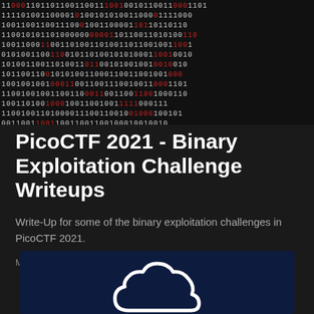[Figure (photo): Binary code image with black background and white digits, some highlighted in red, arranged in rows across the full width]
PicoCTF 2021 - Binary Exploitation Challenge Writeups
Write-Up for some of the binary exploitation challenges in PicoCTF 2021.
Mar 31, 2021 — 40 min read
[Figure (illustration): Dark navy background with a white outline cloud icon / logo centered at the bottom]